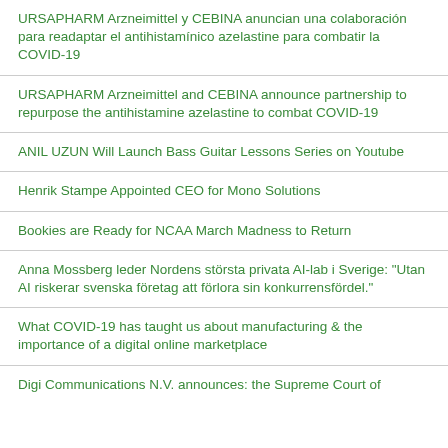URSAPHARM Arzneimittel y CEBINA anuncian una colaboración para readaptar el antihistamínico azelastine para combatir la COVID-19
URSAPHARM Arzneimittel and CEBINA announce partnership to repurpose the antihistamine azelastine to combat COVID-19
ANIL UZUN Will Launch Bass Guitar Lessons Series on Youtube
Henrik Stampe Appointed CEO for Mono Solutions
Bookies are Ready for NCAA March Madness to Return
Anna Mossberg leder Nordens största privata AI-lab i Sverige: "Utan AI riskerar svenska företag att förlora sin konkurrensfördel."
What COVID-19 has taught us about manufacturing & the importance of a digital online marketplace
Digi Communications N.V. announces: the Supreme Court of